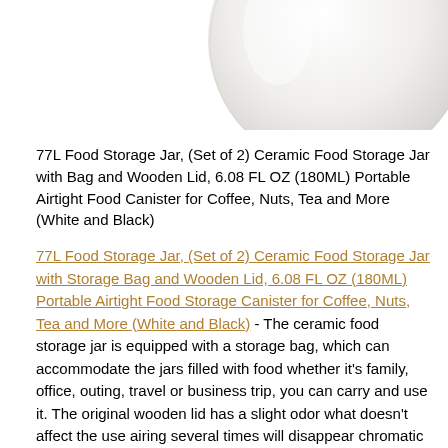[Figure (photo): Partial view of a white ceramic food storage jar/bowl with a smooth curved surface, cropped at top right of page]
77L Food Storage Jar, (Set of 2) Ceramic Food Storage Jar with Bag and Wooden Lid, 6.08 FL OZ (180ML) Portable Airtight Food Canister for Coffee, Nuts, Tea and More (White and Black)
77L Food Storage Jar, (Set of 2) Ceramic Food Storage Jar with Storage Bag and Wooden Lid, 6.08 FL OZ (180ML) Portable Airtight Food Storage Canister for Coffee, Nuts, Tea and More (White and Black) - The ceramic food storage jar is equipped with a storage bag, which can accommodate the jars filled with food whether it's family, office, outing, travel or business trip, you can carry and use it. The original wooden lid has a slight odor what doesn't affect the use airing several times will disappear chromatic aberration caused by different production batches. Fluid/powder